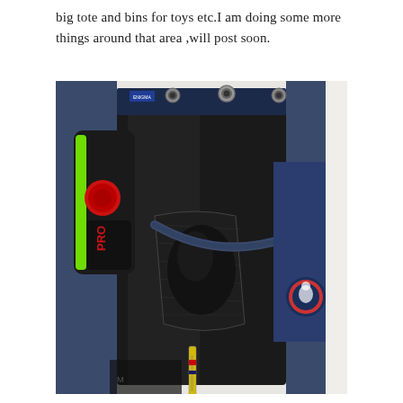big tote and bins for toys etc.I am doing some more things around that area ,will post soon.
[Figure (photo): A hanging black mesh/fabric sports equipment organizer hung on a wall or door with metal hooks at the top. It contains hockey or sports gear including knee pads with a green and red design on the left side, a dark glove or pad in the center pocket, a blue jersey or fabric item with a logo on the right side, and what appears to be a hockey stick or similar equipment at the bottom.]